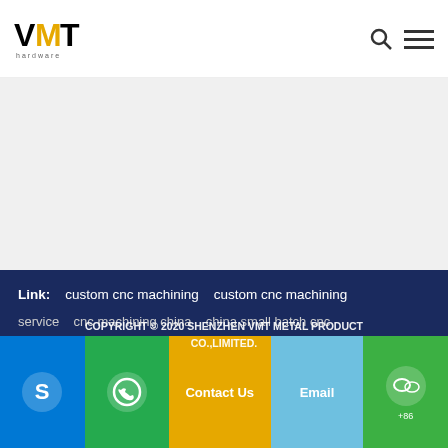[Figure (logo): VMT Hardware logo with bold VMT text and hardware subtitle]
Link:   custom cnc machining   custom cnc machining service   cnc machining china   china small batch cnc machining   Red Light Therapy Device
COPYRIGHT © 2020 SHENZHEN VMT METAL PRODUCT CO.,LIMITED.
Skype   WhatsApp   Contact Us   Email   WeChat   +86